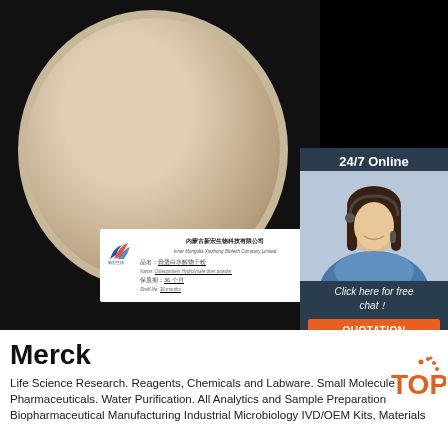[Figure (photo): Product photo showing a black dish/bowl containing beige powder, with a white label card from Inner Mongolia Xinzhong Biotech Company Limited showing product name 'Osteoprotein Hydrolysate drier powder', shelf life 36 months. In the upper-right corner, a customer service chat widget showing '24/7 Online', a photo of a woman with headset, 'Click here for free chat!' text, and an orange 'QUOTATION' button.]
Merck
Life Science Research. Reagents, Chemicals and Labware. Small Molecule Pharmaceuticals. Water Purification. All Analytics and Sample Preparation Biopharmaceutical Manufacturing Industrial Microbiology IVD/OEM Kits, Materials